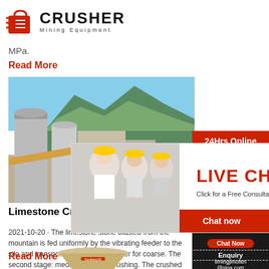[Figure (logo): Crusher Mining Equipment logo with red shopping bag icon and bold CRUSHER text]
MPa.
Read More
[Figure (photo): Photo of a limestone mining facility with silos, conveyor belt, and green mountain background]
Limestone Crusher,
2021-10-20 · The limestone stone blasted from the mountain is fed uniformly by the vibrating feeder to the silo and transported to the jaw crusher for coarse. The second stage: medium and fine crushing. The crushed materials are
Read More
[Figure (photo): Photo of a cone crusher machine]
[Figure (photo): Live Chat popup with workers in hard hats, LIVE CHAT text, Click for a Free Consultation, Chat now and Chat later buttons]
[Figure (photo): Right sidebar: 24Hrs Online banner, female customer service rep with headset]
Need questions & suggestion?
Chat Now
Enquiry
limingjlmofen@sina.com